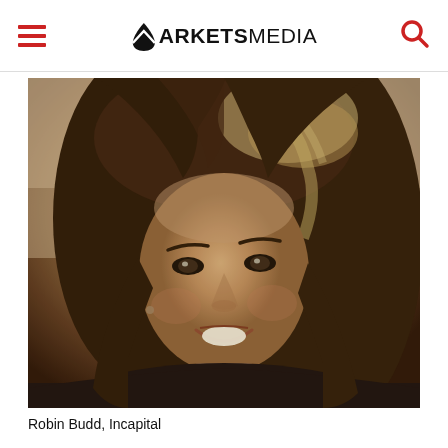MARKETS MEDIA
[Figure (photo): Sepia-toned portrait photograph of Robin Budd, smiling woman with shoulder-length brown hair with highlights, wearing a dark turtleneck, shot from a slight angle.]
Robin Budd, Incapital